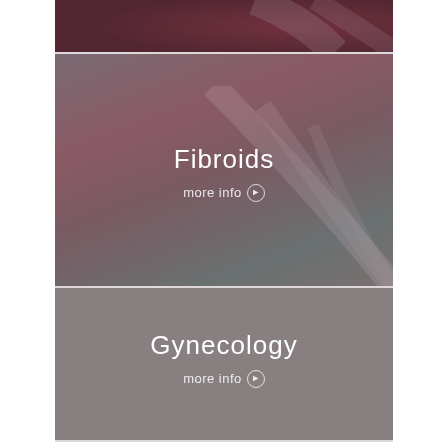[Figure (illustration): Top decorative strip with dark burgundy/mauve gradient background suggesting medical imagery]
[Figure (illustration): Fibroids section panel with muted mauve-grey gradient background and subtle curved line decorations, containing title 'Fibroids' and 'more info' call-to-action button]
[Figure (illustration): Gynecology section panel with solid medium grey background, containing title 'Gynecology' and 'more info' call-to-action button]